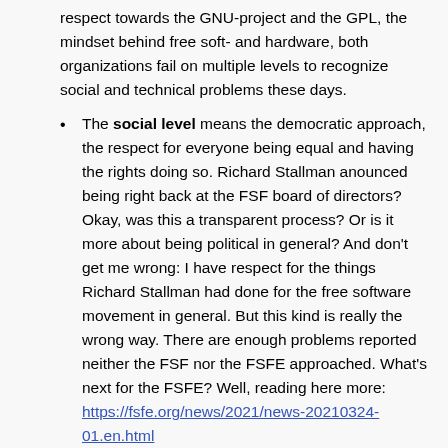respect towards the GNU-project and the GPL, the mindset behind free soft- and hardware, both organizations fail on multiple levels to recognize social and technical problems these days.
The social level means the democratic approach, the respect for everyone being equal and having the rights doing so. Richard Stallman anounced being right back at the FSF board of directors? Okay, was this a transparent process? Or is it more about being political in general? And don't get me wrong: I have respect for the things Richard Stallman had done for the free software movement in general. But this kind is really the wrong way. There are enough problems reported neither the FSF nor the FSFE approached. What's next for the FSFE? Well, reading here more: https://fsfe.org/news/2021/news-20210324-01.en.html